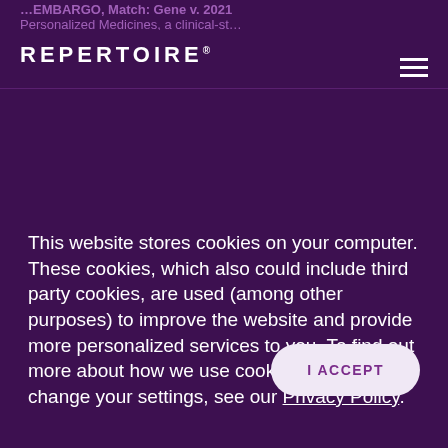REPERTOIRE®
This website stores cookies on your computer. These cookies, which also could include third party cookies, are used (among other purposes) to improve the website and provide more personalized services to you. To find out more about how we use cookies and how to change your settings, see our Privacy Policy.
I ACCEPT